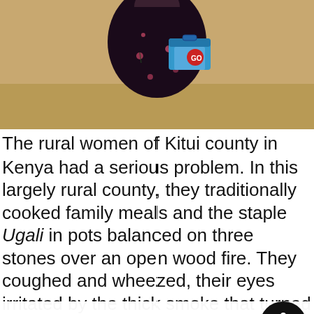[Figure (photo): A woman in a dark floral robe/abaya carrying a blue cooler box, photographed outdoors against a tan/sandy background.]
The rural women of Kitui county in Kenya had a serious problem. In this largely rural county, they traditionally cooked family meals and the staple Ugali in pots balanced on three stones over an open wood fire. They coughed and wheezed, their eyes irritated by the thick smoke that turned the walls of their unventilated kitchens black. They also spent at least two ho...
We use cookies on our website to give you the most relevant experience by remembering your preferences and repeat visits. By clicking "Accept All", you consent to the use of ALL the cookies. However, you may visit "Cookie Settings" to provide a controlled consent.